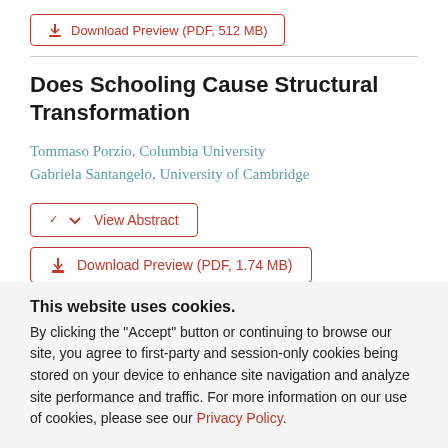[Figure (other): Download Preview button (PDF, 512 MB) partially visible at top]
Does Schooling Cause Structural Transformation
Tommaso Porzio, Columbia University
Gabriela Santangelo, University of Cambridge
[Figure (other): View Abstract button with chevron icon]
[Figure (other): Download Preview (PDF, 1.74 MB) button]
This website uses cookies.
By clicking the "Accept" button or continuing to browse our site, you agree to first-party and session-only cookies being stored on your device to enhance site navigation and analyze site performance and traffic. For more information on our use of cookies, please see our Privacy Policy.